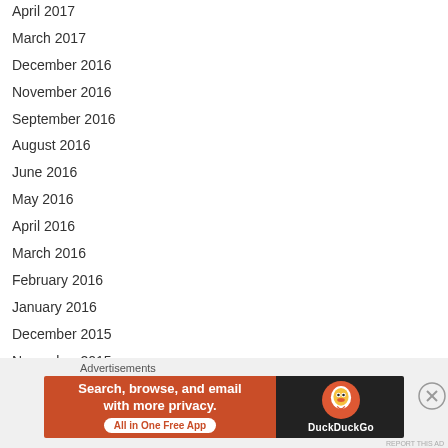April 2017
March 2017
December 2016
November 2016
September 2016
August 2016
June 2016
May 2016
April 2016
March 2016
February 2016
January 2016
December 2015
November 2015
October 2015
[Figure (screenshot): DuckDuckGo advertisement banner with text 'Search, browse, and email with more privacy. All in One Free App' on orange background, and DuckDuckGo logo on dark background.]